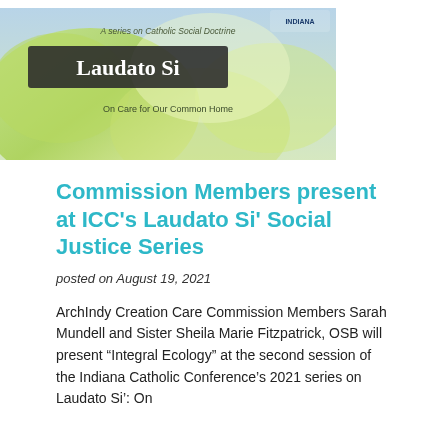[Figure (illustration): Banner image for Laudato Si series on Catholic Social Doctrine. Green leaf background with text 'A series on Catholic Social Doctrine', large white text 'Laudato Si' on dark banner, subtitle 'On Care for Our Common Home', and Indiana Catholic Conference logo.]
Commission Members present at ICC's Laudato Si' Social Justice Series
posted on August 19, 2021
ArchIndy Creation Care Commission Members Sarah Mundell and Sister Sheila Marie Fitzpatrick, OSB will present “Integral Ecology” at the second session of the Indiana Catholic Conference’s 2021 series on Laudato Si’: On